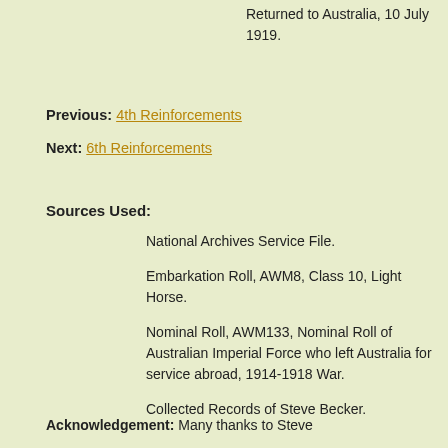Returned to Australia, 10 July 1919.
Previous: 4th Reinforcements
Next: 6th Reinforcements
Sources Used:
National Archives Service File.
Embarkation Roll, AWM8, Class 10, Light Horse.
Nominal Roll, AWM133, Nominal Roll of Australian Imperial Force who left Australia for service abroad, 1914-1918 War.
Collected Records of Steve Becker.
Acknowledgement: Many thanks to Steve